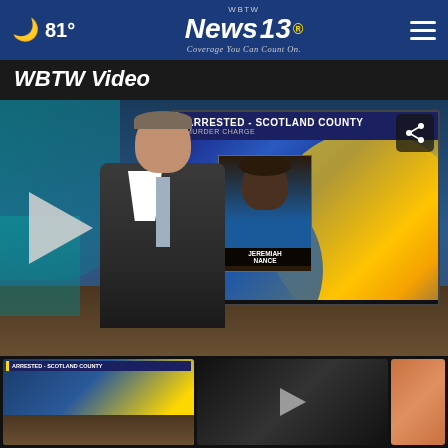🌙 81° WBTW News 13 Coverage You Can Count On.
WBTW Video
[Figure (screenshot): News broadcast video thumbnail showing a male anchor in a suit standing in front of a TV screen displaying 'ARRESTED - SCOTLAND COUNTY MURDER CHARGE' with a mugshot of JEREMIAH NANCE. A play button overlay is visible on the left side. A share icon is visible in the top right corner of the video.]
[Figure (screenshot): Small thumbnail of the same news broadcast about Scotland County arrest]
[Figure (screenshot): Small thumbnail of a dark studio shot]
[Figure (screenshot): Small thumbnail with orange/flesh tones, partially visible]